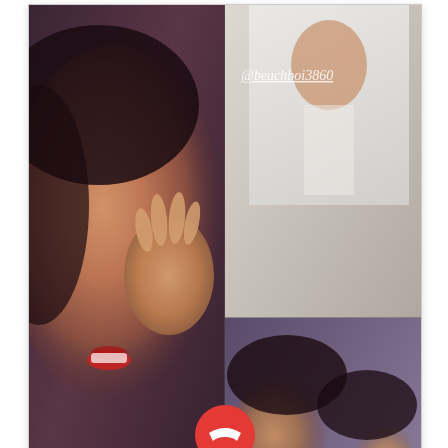[Figure (screenshot): Screenshot of a multi-party video call app showing three participants: @rainie77 (left panel, woman smiling with red lips, hand raised), @beachboi3860 (upper right panel, figure in white shirt), and @elin22 (lower right panel, two people making faces). A red end-call button is visible in the center. Chinese text '傳送訊息' appears at the bottom along with video call control icons.]